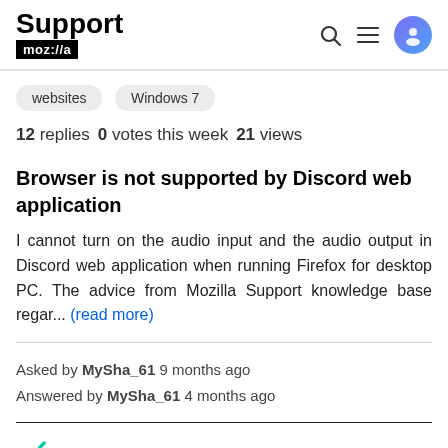Support moz://a
websites
Windows 7
12 replies   0 votes this week   21 views
Browser is not supported by Discord web application
I cannot turn on the audio input and the audio output in Discord web application when running Firefox for desktop PC. The advice from Mozilla Support knowledge base regar... (read more)
Asked by MySha_61 9 months ago
Answered by MySha_61 4 months ago